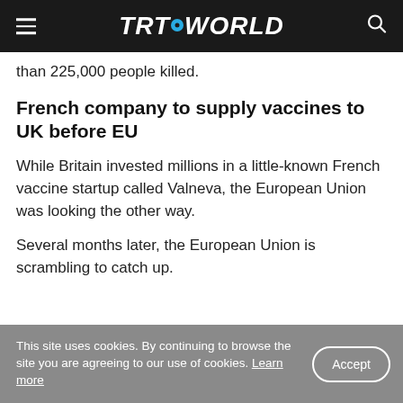TRT WORLD
than 225,000 people killed.
French company to supply vaccines to UK before EU
While Britain invested millions in a little-known French vaccine startup called Valneva, the European Union was looking the other way.
Several months later, the European Union is scrambling to catch up.
This site uses cookies. By continuing to browse the site you are agreeing to our use of cookies. Learn more